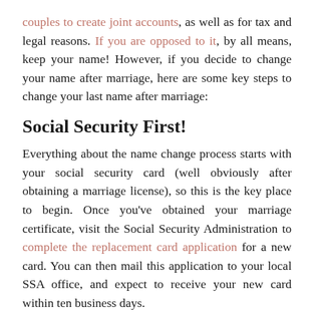couples to create joint accounts, as well as for tax and legal reasons. If you are opposed to it, by all means, keep your name! However, if you decide to change your name after marriage, here are some key steps to change your last name after marriage:
Social Security First!
Everything about the name change process starts with your social security card (well obviously after obtaining a marriage license), so this is the key place to begin. Once you've obtained your marriage certificate, visit the Social Security Administration to complete the replacement card application for a new card. You can then mail this application to your local SSA office, and expect to receive your new card within ten business days.
Driver's License